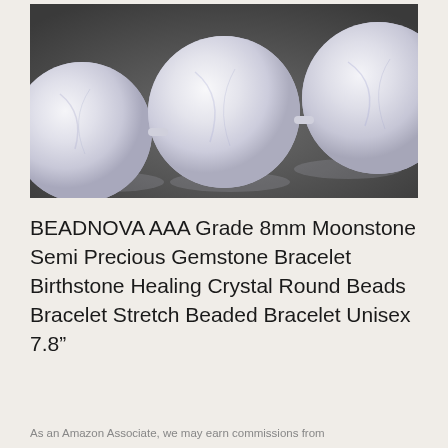[Figure (photo): Close-up photo of white/translucent moonstone round beads strung together on a bracelet, shot against a dark gray background]
BEADNOVA AAA Grade 8mm Moonstone Semi Precious Gemstone Bracelet Birthstone Healing Crystal Round Beads Bracelet Stretch Beaded Bracelet Unisex 7.8"
As an Amazon Associate, we may earn commissions from